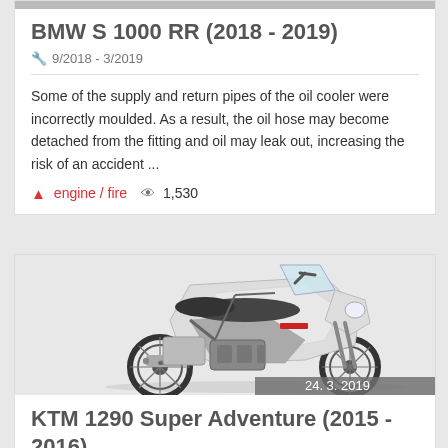[Figure (photo): Partial view of a motorcycle at the top of the first card (cropped)]
BMW S 1000 RR (2018 - 2019)
🔧 9/2018 - 3/2019
Some of the supply and return pipes of the oil cooler were incorrectly moulded. As a result, the oil hose may become detached from the fitting and oil may leak out, increasing the risk of an accident ...
⚠ engine / fire 👁 1,530
[Figure (photo): KTM 1290 Super Adventure motorcycle, silver/white color, side view on grey background. Date badge: 24. 3. 2019]
KTM 1290 Super Adventure (2015 - 2016)